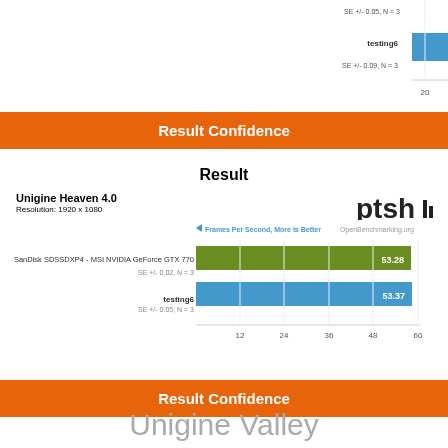[Figure (bar-chart): Frames Per Second, More Is Better]
Result Confidence
Result
Unigine Heaven 4.0
Resolution: 1920 x 1080
[Figure (bar-chart): Frames Per Second, More Is Better]
Result Confidence
Unigine Valley
Result